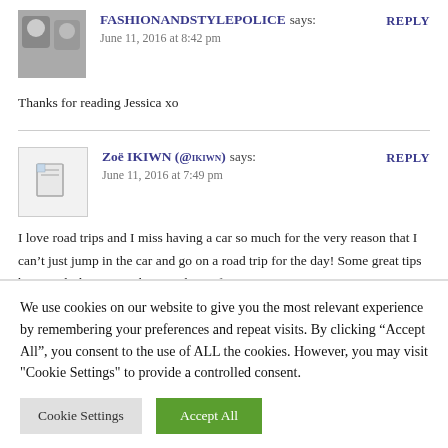FASHIONANDSTYLEPOLICE says: June 11, 2016 at 8:42 pm
Thanks for reading Jessica xo
Zoë IKIWN (@IKIWN) says: June 11, 2016 at 7:49 pm
I love road trips and I miss having a car so much for the very reason that I can't just jump in the car and go on a road trip for the day! Some great tips here, and I love your shoes in the outfit picture too!
We use cookies on our website to give you the most relevant experience by remembering your preferences and repeat visits. By clicking "Accept All", you consent to the use of ALL the cookies. However, you may visit "Cookie Settings" to provide a controlled consent.